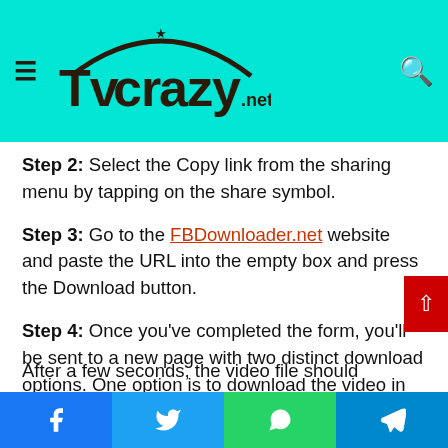TVCRAZY.net
Step 2: Select the Copy link from the sharing menu by tapping on the share symbol.
Step 3: Go to the FBDownloader.net website and paste the URL into the empty box and press the Download button.
Step 4: Once you've completed the form, you'll be sent to a new page with two distinct download options. One option is to download the video in high-quality MP4 format, and the other in a standard quality format Select the appropriate download link from the drop-down menu.
After a few seconds, the video file should appear in your